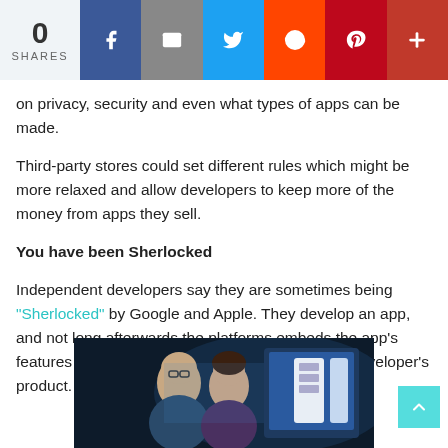0 SHARES — social share bar with Facebook, Mail, Twitter, Reddit, Pinterest, + buttons
on privacy, security and even what types of apps can be made.
Third-party stores could set different rules which might be more relaxed and allow developers to keep more of the money from apps they sell.
You have been Sherlocked
Independent developers say they are sometimes being "Sherlocked" by Google and Apple. They develop an app, and not long afterwards the platforms embeds the app's features in the operating system itself, killing the developer's product.
[Figure (photo): Two people (a man with glasses and a woman) looking at screens showing app/UI interfaces in a dark office environment]